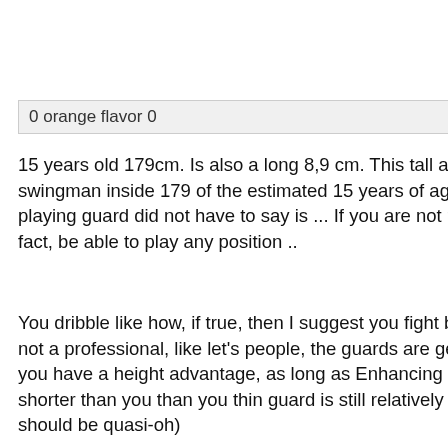0 orange flavor 0    12 years ago #2
15 years old 179cm. Is also a long 8,9 cm. This tall and you can be a swingman inside 179 of the estimated 15 years of age .. not many can play SF, playing guard did not have to say is ... If you are not professional enough, in fact, be able to play any position ..
You dribble like how, if true, then I suggest you fight back, because these are not a professional, like let's people, the guards are generally around 170-180, you have a height advantage, as long as Enhancing the strength, single-eating shorter than you than you thin guard is still relatively easy (and the basket should be quasi-oh)
PS: Happy to play basketball like, after all, basketball is usual for the Let's entertainment and leisure, not to take basketball as professional, as long as you can insist on playing a long time after a